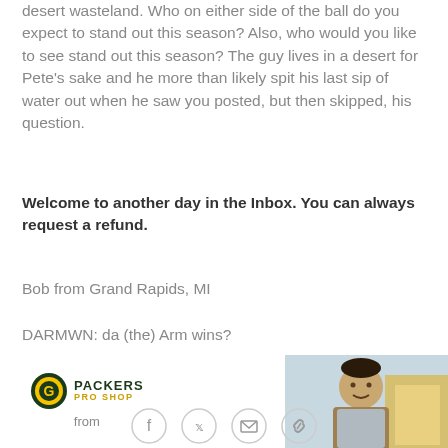desert wasteland. Who on either side of the ball do you expect to stand out this season? Also, who would you like to see stand out this season? The guy lives in a desert for Pete's sake and he more than likely spit his last sip of water out when he saw you posted, but then skipped, his question.
Welcome to another day in the Inbox. You can always request a refund.
Bob from Grand Rapids, MI
DARMWN: da (the) Arm wins?
[Figure (logo): Green Bay Packers Pro Shop logo with oval G emblem and text 'PACKERS PRO SHOP']
[Figure (photo): Photo of a smiling young man outdoors]
from
[Figure (infographic): Social media share icons: Facebook, Twitter, Email, Link]